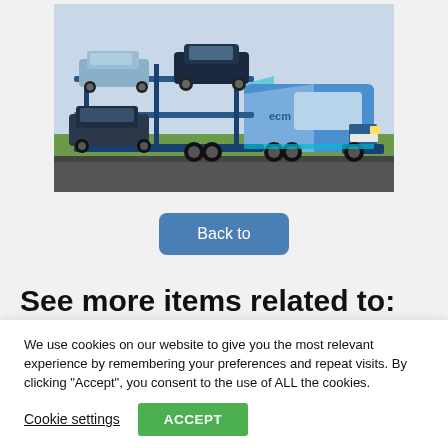[Figure (photo): A blue and white car transporter truck (ECM branded) loaded with multiple cars on its upper and lower decks, driving on a road with green fields in the background.]
Back to
See more items related to:
We use cookies on our website to give you the most relevant experience by remembering your preferences and repeat visits. By clicking “Accept”, you consent to the use of ALL the cookies.
Cookie settings
ACCEPT